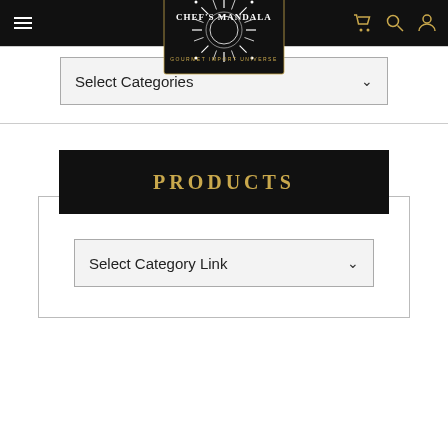Chef's Mandala - Gourmet Import Universe navigation bar
[Figure (logo): Chef's Mandala logo - circular sunburst design with text CHEF'S MANDALA and GOURMET IMPORT UNIVERSE]
Select Categories
Products
Select Category Link